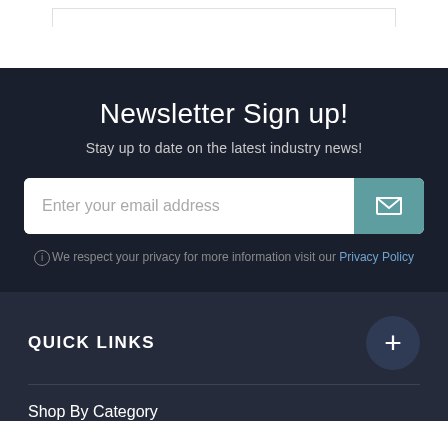Newsletter Sign up!
Stay up to date on the latest industry news!
Enter your email address
We respect your privacy for more information visit our Privacy Policy
QUICK LINKS
Shop By Category